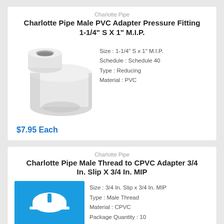Charlotte Pipe
Charlotte Pipe Male PVC Adapter Pressure Fitting 1-1/4" S X 1" M.I.P.
[Figure (photo): White PVC male adapter pipe fitting, cylindrical shape with hollow interior, viewed from the front-left angle]
Size : 1-1/4" S x 1" M.I.P.
Schedule : Schedule 40
Type : Reducing
Material : PVC
$7.95 Each
Charlotte Pipe
Charlotte Pipe Male Thread to CPVC Adapter 3/4 In. Slip X 3/4 In. MIP
[Figure (logo): Charlotte Pipe logo on blue background with white hard hat icon]
Size : 3/4 In. Slip x 3/4 In. MIP
Type : Male Thread
Material : CPVC
Package Quantity : 10